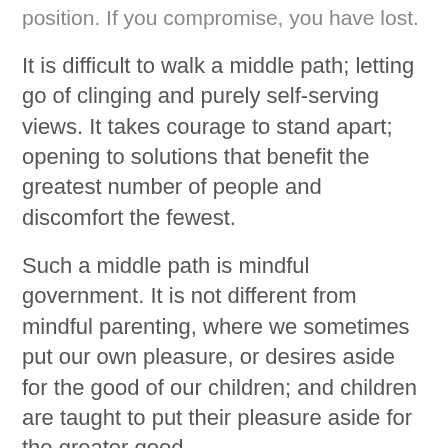position. If you compromise, you have lost.
It is difficult to walk a middle path; letting go of clinging and purely self-serving views. It takes courage to stand apart; opening to solutions that benefit the greatest number of people and discomfort the fewest.
Such a middle path is mindful government. It is not different from mindful parenting, where we sometimes put our own pleasure, or desires aside for the good of our children; and children are taught to put their pleasure aside for the greater good.
As our governments and legislators may adopt these lessons, we will see the evolution of humanity and the planet.
Peace in the world will come of this.